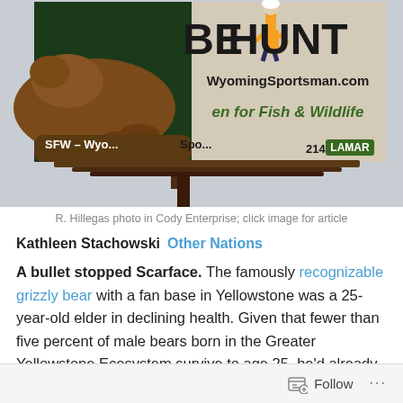[Figure (photo): A billboard showing a grizzly bear with text 'HUNT', 'WyomingSportsman.com', 'en for Fish & Wildlife', 'SFW - Wyo...', 'Spo...', '21415', 'LAMAR'. A worker in safety gear is visible on top of the billboard structure.]
R. Hillegas photo in Cody Enterprise; click image for article
Kathleen Stachowski  Other Nations
A bullet stopped Scarface. The famously recognizable grizzly bear with a fan base in Yellowstone was a 25-year-old elder in declining health. Given that fewer than five percent of male bears born in the Greater Yellowstone Ecosystem survive to age 25, he'd already beaten monumental odds. That is, until he met up with a hunter's